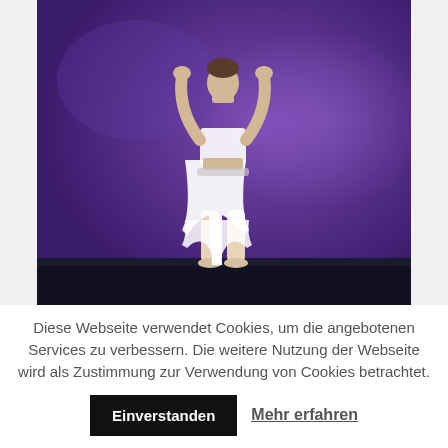[Figure (photo): A dancer wearing a white crop top and flowing white skirt poses on stage with arms raised above head, against a purple/violet blurred background with a dark stage floor.]
Diese Webseite verwendet Cookies, um die angebotenen Services zu verbessern. Die weitere Nutzung der Webseite wird als Zustimmung zur Verwendung von Cookies betrachtet.
Einverstanden   Mehr erfahren